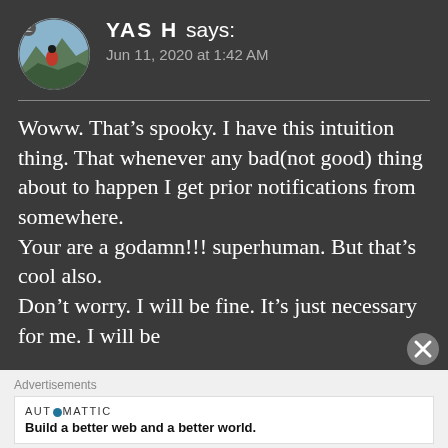YASH says: Jun 11, 2020 at 1:42 AM
Woww. That's spooky. I have this intuition thing. That whenever any bad(not good) thing about to happen I get prior notifications from somewhere.
Your are a godamn!!! superhuman. But that's cool also.
Don't worry. I will be fine. It's just necessary for me. I will be
Advertisements
AUTOMATTIC
Build a better web and a better world.